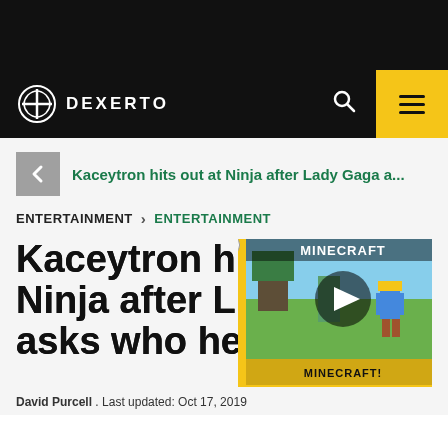[Figure (logo): Dexerto website header - dark top bar]
DEXERTO
Kaceytron hits out at Ninja after Lady Gaga a...
ENTERTAINMENT > ENTERTAINMENT
Kaceytron hits out at Ninja after Lady Gaga asks who he is
[Figure (screenshot): Minecraft advertisement video thumbnail with play button overlay and MINECRAFT! text]
David Purcell . Last updated: Oct 17, 2019